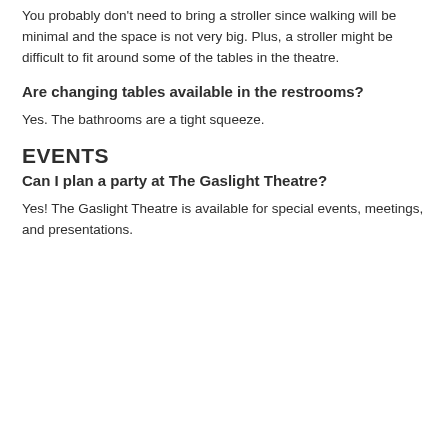You probably don't need to bring a stroller since walking will be minimal and the space is not very big. Plus, a stroller might be difficult to fit around some of the tables in the theatre.
Are changing tables available in the restrooms?
Yes. The bathrooms are a tight squeeze.
EVENTS
Can I plan a party at The Gaslight Theatre?
Yes! The Gaslight Theatre is available for special events, meetings, and presentations.